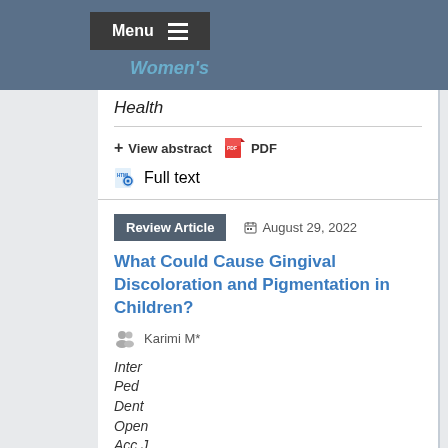Menu | Women's Health
Health
+ View abstract  📄 PDF
Full text
Review Article  August 29, 2022
What Could Cause Gingival Discoloration and Pigmentation in Children?
Karimi M*
Inter Ped Dent Open Acc J